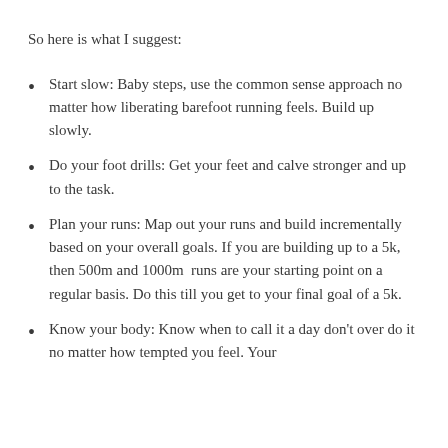So here is what I suggest:
Start slow: Baby steps, use the common sense approach no matter how liberating barefoot running feels. Build up slowly.
Do your foot drills: Get your feet and calve stronger and up to the task.
Plan your runs: Map out your runs and build incrementally based on your overall goals. If you are building up to a 5k, then 500m and 1000m runs are your starting point on a regular basis. Do this till you get to your final goal of a 5k.
Know your body: Know when to call it a day don't over do it no matter how tempted you feel. Your